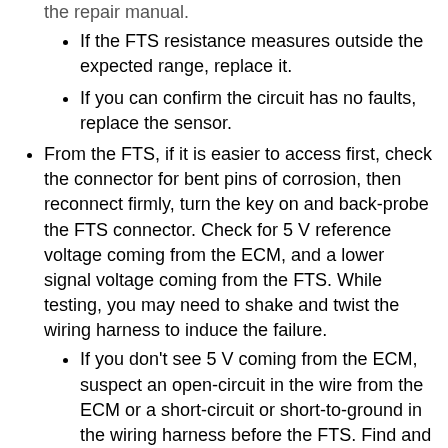If the FTS resistance measures outside the expected range, replace it.
If you can confirm the circuit has no faults, replace the sensor.
From the FTS, if it is easier to access first, check the connector for bent pins of corrosion, then reconnect firmly, turn the key on and back-probe the FTS connector. Check for 5 V reference voltage coming from the ECM, and a lower signal voltage coming from the FTS. While testing, you may need to shake and twist the wiring harness to induce the failure.
If you don't see 5 V coming from the ECM, suspect an open-circuit in the wire from the ECM or a short-circuit or short-to-ground in the wiring harness before the FTS. Find and repair as necessary.
If you see 5 V reference, but no signal voltage, suspect a fault in the FTS. Replace as necessary.
If you see 5 V on the signal line, suspect an open-